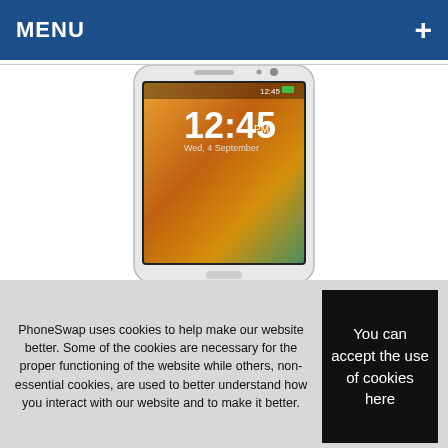MENU +
[Figure (photo): Samsung Galaxy Note 3 smartphone showing lock screen with time 12:45 PM and date Wed, 4 September, with a colorful landscape wallpaper]
PhoneSwap uses cookies to help make our website better. Some of the cookies are necessary for the proper functioning of the website while others, non-essential cookies, are used to better understand how you interact with our website and to make it better.
You can accept the use of cookies here